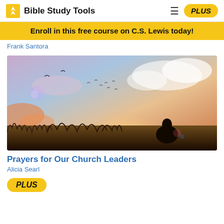Bible Study Tools
Enroll in this free course on C.S. Lewis today!
Frank Santora
[Figure (photo): Person kneeling in prayer in a golden field at sunset with birds flying overhead and sunlight streaming in the background]
Prayers for Our Church Leaders
Alicia Searl
PLUS